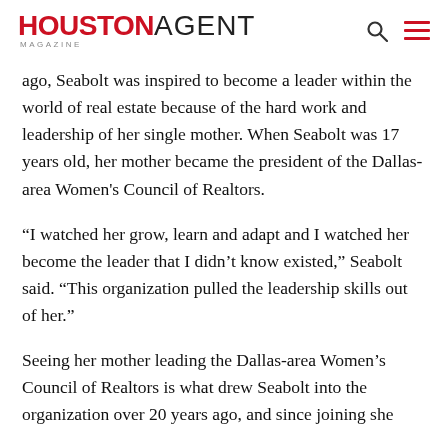HOUSTON AGENT MAGAZINE
ago, Seabolt was inspired to become a leader within the world of real estate because of the hard work and leadership of her single mother. When Seabolt was 17 years old, her mother became the president of the Dallas-area Women's Council of Realtors.
“I watched her grow, learn and adapt and I watched her become the leader that I didn’t know existed,” Seabolt said. “This organization pulled the leadership skills out of her.”
Seeing her mother leading the Dallas-area Women’s Council of Realtors is what drew Seabolt into the organization over 20 years ago, and since joining she